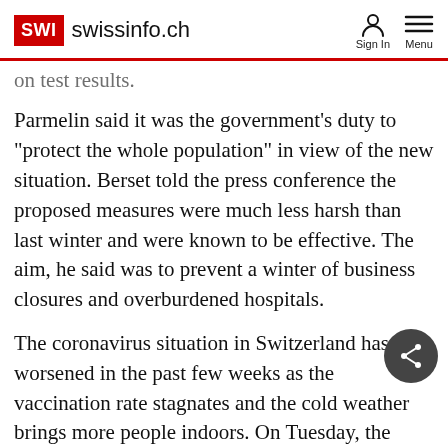SWI swissinfo.ch | Sign In | Menu
on test results.
Parmelin said it was the government's duty to "protect the whole population" in view of the new situation. Berset told the press conference the proposed measures were much less harsh than last winter and were known to be effective. The aim, he said was to prevent a winter of business closures and overburdened hospitals.
The coronavirus situation in Switzerland has worsened in the past few weeks as the vaccination rate stagnates and the cold weather brings more people indoors. On Tuesday, the Federal Office of Public Health